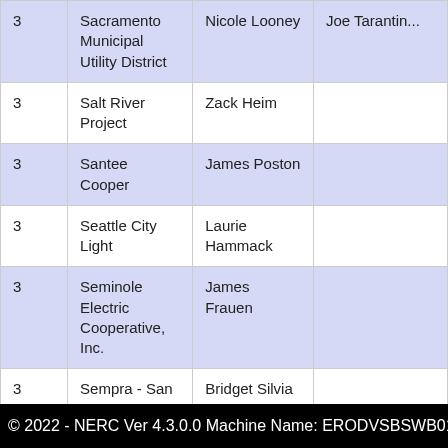|  | Organization | Contact |  |
| --- | --- | --- | --- |
| 3 | Sacramento Municipal Utility District | Nicole Looney | Joe Tarantin... |
| 3 | Salt River Project | Zack Heim |  |
| 3 | Santee Cooper | James Poston |  |
| 3 | Seattle City Light | Laurie Hammack |  |
| 3 | Seminole Electric Cooperative, Inc. | James Frauen |  |
| 3 | Sempra - San Diego Gas and Electric | Bridget Silvia |  |
© 2022 - NERC Ver 4.3.0.0 Machine Name: ERODVSBSWB01